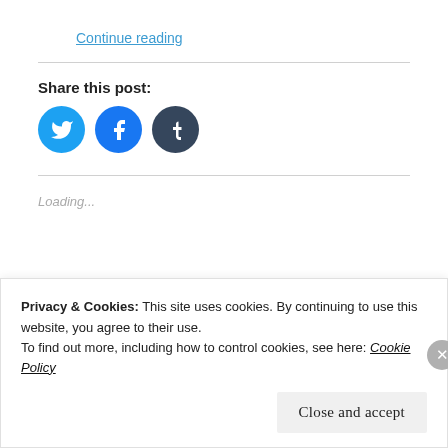Continue reading
[Figure (infographic): Three social media share icons: Twitter (blue), Facebook (blue), Tumblr (dark)]
Share this post:
Loading...
Privacy & Cookies: This site uses cookies. By continuing to use this website, you agree to their use.
To find out more, including how to control cookies, see here: Cookie Policy
Close and accept